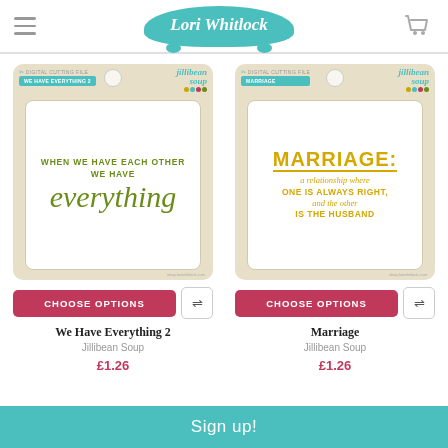[Figure (screenshot): Lori Whitlock website header with hamburger menu, teal logo badge with script text 'Lori Whitlock', and cart icon]
[Figure (illustration): Product packaging for 'We Have Everything 2' by Jillibean Soup, showing digital cutting file with olive green text 'WHEN WE HAVE EACH OTHER WE HAVE everything' on white card in kraft paper packaging]
[Figure (illustration): Product packaging for 'Marriage' by Jillibean Soup, showing digital cutting file with yellow text 'MARRIAGE: a relationship where ONE IS ALWAYS RIGHT, and the other IS THE HUSBAND' on white card in kraft paper packaging]
CHOOSE OPTIONS
CHOOSE OPTIONS
We Have Everything 2
Jillibean Soup
£1.26
Marriage
Jillibean Soup
£1.26
Sign up!